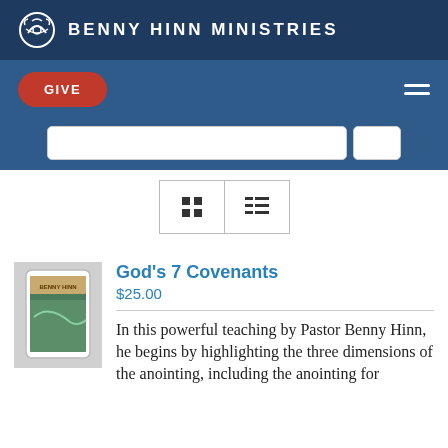BENNY HINN MINISTRIES
GIVE
[Figure (screenshot): Search bar input field with a search button on the right]
[Figure (other): View toggle buttons: grid view and list view]
[Figure (photo): Book/tablet product image for God's 7 Covenants]
God’s 7 Covenants
$25.00
In this powerful teaching by Pastor Benny Hinn, he begins by highlighting the three dimensions of the anointing, including the anointing for